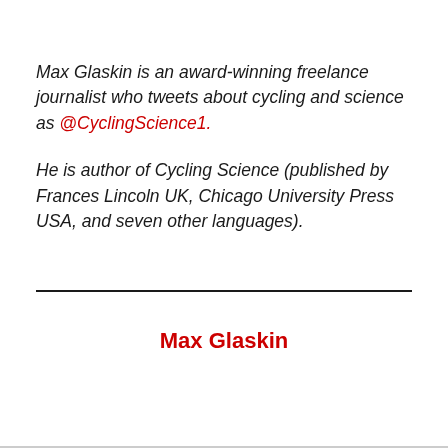Max Glaskin is an award-winning freelance journalist who tweets about cycling and science as @CyclingScience1.
He is author of Cycling Science (published by Frances Lincoln UK, Chicago University Press USA, and seven other languages).
Max Glaskin